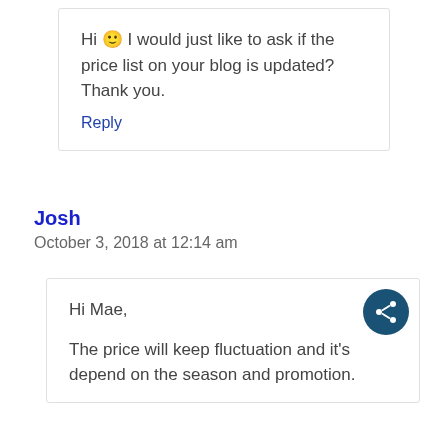Hi 🙂 I would just like to ask if the price list on your blog is updated? Thank you.
Reply
Josh
October 3, 2018 at 12:14 am
Hi Mae,

The price will keep fluctuation and it's depend on the season and promotion.